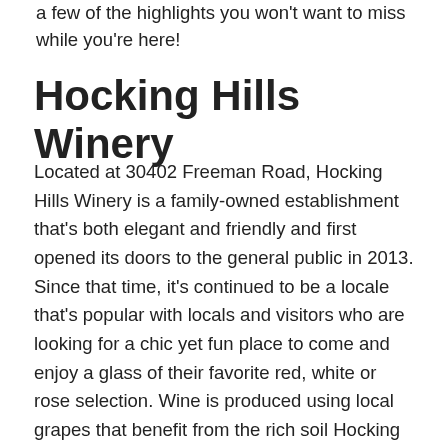a few of the highlights you won't want to miss while you're here!
Hocking Hills Winery
Located at 30402 Freeman Road, Hocking Hills Winery is a family-owned establishment that's both elegant and friendly and first opened its doors to the general public in 2013. Since that time, it's continued to be a locale that's popular with locals and visitors who are looking for a chic yet fun place to come and enjoy a glass of their favorite red, white or rose selection. Wine is produced using local grapes that benefit from the rich soil Hocking Hills hosts. Guests are invited to come in, order and stay or reserve a spot at one of Hocking Hills Winery's many tasting times. This fun and flavorful stop in downtown Logan is open from 1 pm until 8 pm Sunday and Monday as well as Wednesday and Thursday. Friday hours